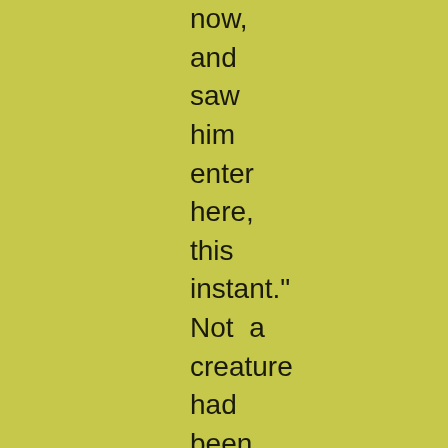now, and saw him enter here, this instant." Not a creature had been seen by any one; and in that hour and